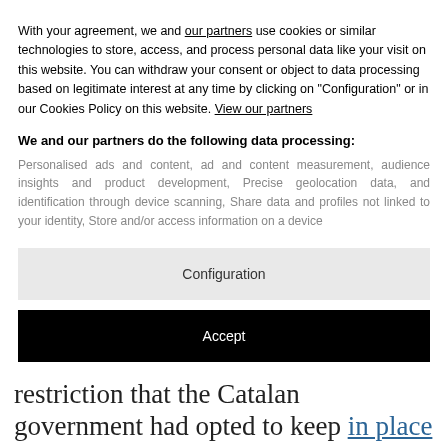With your agreement, we and our partners use cookies or similar technologies to store, access, and process personal data like your visit on this website. You can withdraw your consent or object to data processing based on legitimate interest at any time by clicking on "Configuration" or in our Cookies Policy on this website. View our partners
We and our partners do the following data processing:
Personalised ads and content, ad and content measurement, audience insights and product development, Precise geolocation data, and identification through device scanning, Share data and profiles not linked to your identity, Store and/or access information on a device
Configuration
Accept
heard to instruct, in line with the restriction that the Catalan government had opted to keep in place on social meetings. But their mission was an impossible one from the start. The parties that sprung up around the